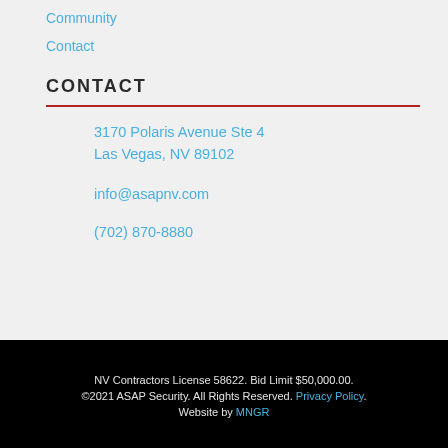Community
Contact
CONTACT
3170 Polaris Avenue Ste 4
Las Vegas, NV 89102
info@asapnv.com
(702) 870-8880
NV Contractors License 58622. Bid Limit $50,000.00.
©2021 ASAP Security. All Rights Reserved. Privacy Policy.
Website by MNGR